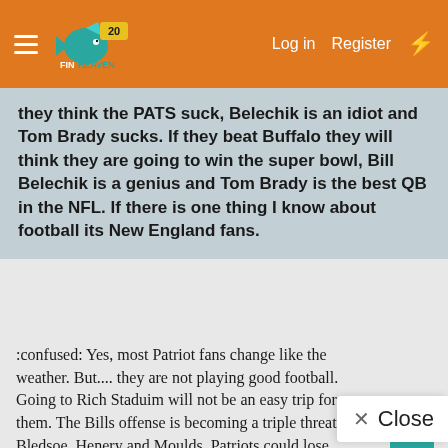FinHeaven — Log in  Register
they think the PATS suck, Belechik is an idiot and Tom Brady sucks. If they beat Buffalo they will think they are going to win the super bowl, Bill Belechik is a genius and Tom Brady is the best QB in the NFL. If there is one thing I know about football its New England fans.
:confused: Yes, most Patriot fans change like the weather. But.... they are not playing good football. Going to Rich Staduim will not be an easy trip for them. The Bills offense is becoming a triple threat, with Bledsoe, Henery and Moulds. Patriots could lose another this week.
Then again, the Patriots alway do play well againis It's sink or swim. :D :eat: :cry: